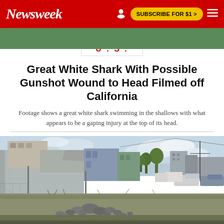Newsweek | SUBSCRIBE FOR $1 >
U.S.
Great White Shark With Possible Gunshot Wound to Head Filmed off California
Footage shows a great white shark swimming in the shallows with what appears to be a gaping injury at the top of its head.
BY ROBYN WHITE ON 6/17/22 AT 9:41 AM EDT
[Figure (photo): Outdoor urban scene showing a vacant lot with rocks and weeds in the foreground, a concrete wall and weathered buildings in the background, cars parked on the right side, trees, and a partly cloudy sky.]